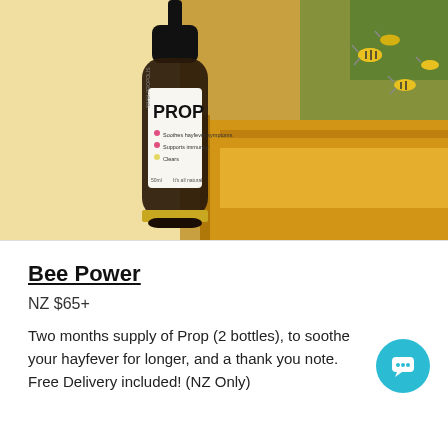[Figure (photo): Product photo of a PROP propolis tincture bottle with dropper cap and white label, placed against a warm yellow background. Right side shows a close-up photo of bees on a beehive frame with blurred green foliage in the background.]
Bee Power
NZ $65+
Two months supply of Prop (2 bottles), to soothe your hayfever for longer, and a thank you note. Free Delivery included! (NZ Only)